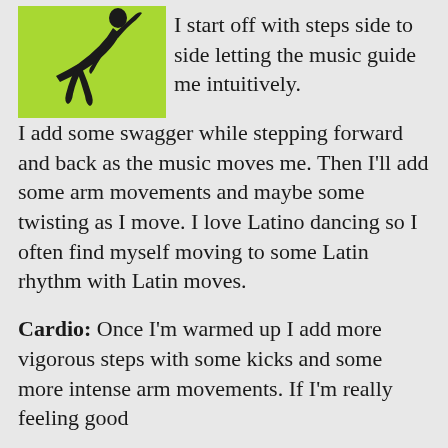[Figure (illustration): Silhouette of a dancer bending forward against a lime green background]
I start off with steps side to side letting the music guide me intuitively.  I add some swagger while stepping forward and back as the music moves me.  Then I'll add some arm movements and maybe some twisting as I move.  I love Latino dancing so I often find myself moving to some Latin rhythm with Latin moves.
Cardio:  Once I'm warmed up I add more vigorous steps with some kicks and some more intense arm movements.  If I'm really feeling good